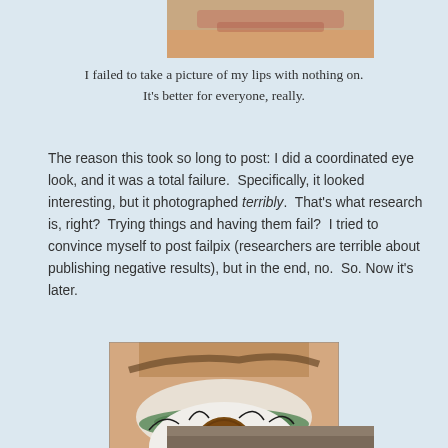[Figure (photo): Close-up photo of a person's skin/lips area, cropped at top]
I failed to take a picture of my lips with nothing on.
It's better for everyone, really.
The reason this took so long to post: I did a coordinated eye look, and it was a total failure.  Specifically, it looked interesting, but it photographed terribly.  That's what research is, right?  Trying things and having them fail?  I tried to convince myself to post failpix (researchers are terrible about publishing negative results), but in the end, no.  So. Now it's later.
[Figure (photo): Close-up photo of a person's eye with green eyeshadow on the upper lid and white/silver shimmer eyeshadow, brown iris]
[Figure (photo): Partial photo at bottom, cropped]